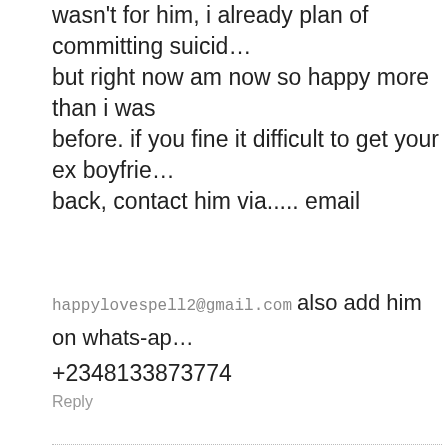wasn't for him, i already plan of committing suicide but right now am now so happy more than i was before. if you fine it difficult to get your ex boyfriend back, contact him via..... email
happylovespell2@gmail.com also add him on whats-app +2348133873774
Reply
10. Cassie Tiffany says: 06/10/2017 at 6:05 am
Glorious be unto happy love spell the man who make me see reasons that there are still real and genuine spell casters like him. since 3 weeks now